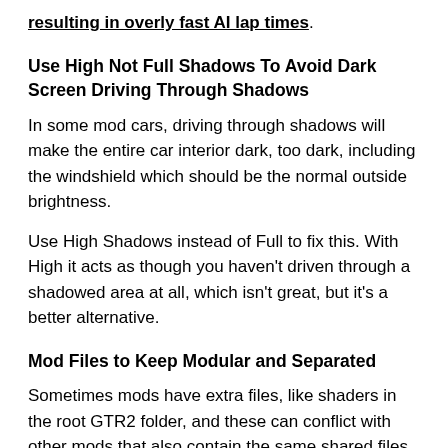resulting in overly fast AI lap times.
Use High Not Full Shadows To Avoid Dark Screen Driving Through Shadows
In some mod cars, driving through shadows will make the entire car interior dark, too dark, including the windshield which should be the normal outside brightness.
Use High Shadows instead of Full to fix this. With High it acts as though you haven't driven through a shadowed area at all, which isn't great, but it's a better alternative.
Mod Files to Keep Modular and Separated
Sometimes mods have extra files, like shaders in the root GTR2 folder, and these can conflict with other mods that also contain the same shared files.
Whenever possible, keep mod files isolated to their own unique folders.